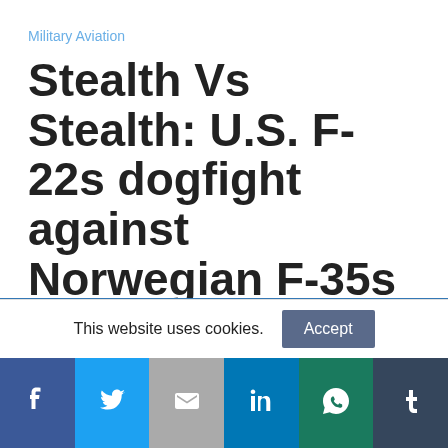Military Aviation
Stealth Vs Stealth: U.S. F-22s dogfight against Norwegian F-35s
This website uses cookies.
Social share bar: Facebook, Twitter, Email, LinkedIn, WhatsApp, Tumblr